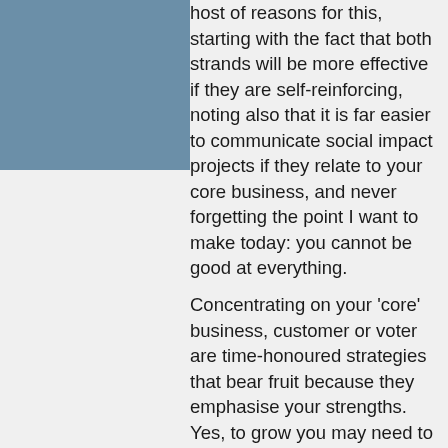host of reasons for this, starting with the fact that both strands will be more effective if they are self-reinforcing, noting also that it is far easier to communicate social impact projects if they relate to your core business, and never forgetting the point I want to make today: you cannot be good at everything.
Concentrating on your ‘core’ business, customer or voter are time-honoured strategies that bear fruit because they emphasise your strengths. Yes, to grow you may need to stretch, improve your more marginal expertise, create new products, but you are never going to be great at everything and the more you try to achieve that, the less successful you